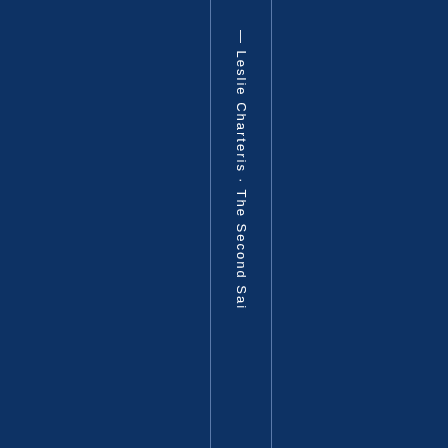[Figure (other): Book spine / cover page with dark navy blue background, two thin vertical divider lines, and vertically written text reading '— Leslie Charteris · The Second Sai' (partial, continues off page)]